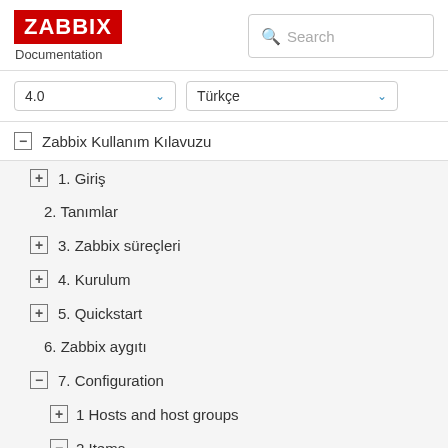ZABBIX Documentation
Search
4.0
Türkçe
⊟ Zabbix Kullanım Kılavuzu
⊞ 1. Giriş
2. Tanımlar
⊞ 3. Zabbix süreçleri
⊞ 4. Kurulum
⊞ 5. Quickstart
6. Zabbix aygıtı
⊟ 7. Configuration
⊞ 1 Hosts and host groups
⊟ 2 Items
⊞ 1 Creating an item